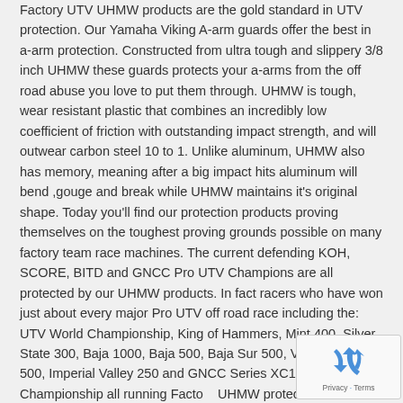Factory UTV UHMW products are the gold standard in UTV protection. Our Yamaha Viking A-arm guards offer the best in a-arm protection. Constructed from ultra tough and slippery 3/8 inch UHMW these guards protects your a-arms from the off road abuse you love to put them through. UHMW is tough, wear resistant plastic that combines an incredibly low coefficient of friction with outstanding impact strength, and will outwear carbon steel 10 to 1. Unlike aluminum, UHMW also has memory, meaning after a big impact hits aluminum will bend ,gouge and break while UHMW maintains it's original shape. Today you'll find our protection products proving themselves on the toughest proving grounds possible on many factory team race machines. The current defending KOH, SCORE, BITD and GNCC Pro UTV Champions are all protected by our UHMW products. In fact racers who have won just about every major Pro UTV off road race including the: UTV World Championship, King of Hammers, Mint 400, Silver State 300, Baja 1000, Baja 500, Baja Sur 500, Vegas to Reno 500, Imperial Valley 250 and GNCC Series XC1 Pro UTV Championship all running Factory UHMW protection. Protect your investment today!
[Figure (other): reCAPTCHA widget with recycling arrows icon and Privacy - Terms text]